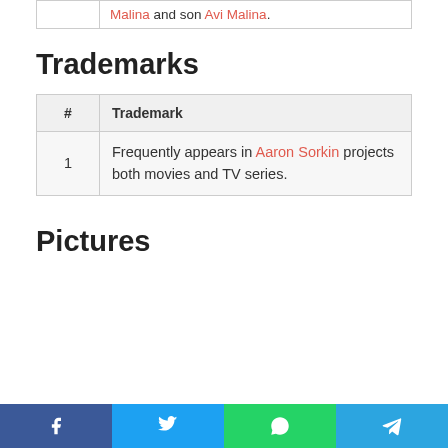|  |  |
| --- | --- |
|  | Malina and son Avi Malina. |
Trademarks
| # | Trademark |
| --- | --- |
| 1 | Frequently appears in Aaron Sorkin projects both movies and TV series. |
Pictures
Facebook | Twitter | WhatsApp | Telegram